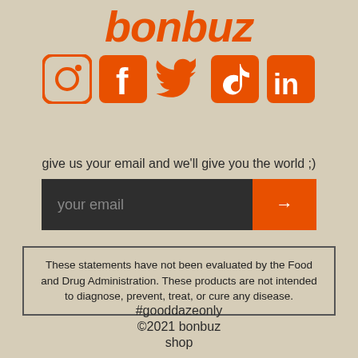[Figure (logo): bonbuz logo in orange italic bold text]
[Figure (infographic): Social media icons: Instagram, Facebook, Twitter, TikTok, LinkedIn in orange]
give us your email and we'll give you the world ;)
[Figure (screenshot): Email input field with dark background and orange submit arrow button]
These statements have not been evaluated by the Food and Drug Administration. These products are not intended to diagnose, prevent, treat, or cure any disease.
#gooddazeonly
©2021 bonbuz
shop